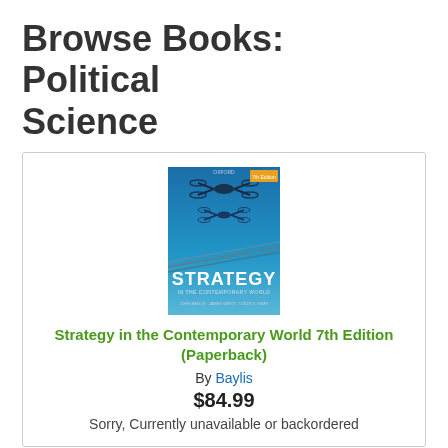Browse Books: Political Science
[Figure (photo): Book cover of 'Strategy in the Contemporary World 7th Edition' showing a drone over barbed wire on a blue background]
Strategy in the Contemporary World 7th Edition (Paperback)
By Baylis
$84.99
Sorry, Currently unavailable or backordered
[Figure (photo): Book cover of 'The Emergence of Liberty in the Modern World' partially visible at the bottom of the page]